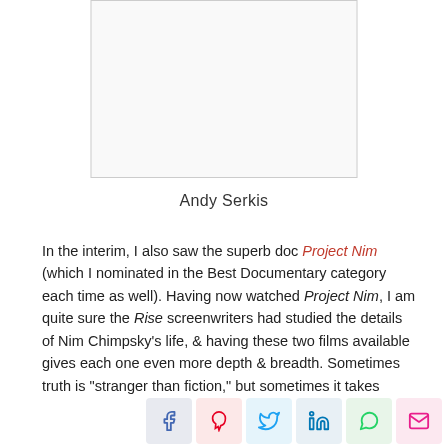[Figure (photo): Placeholder image area for Andy Serkis photo]
Andy Serkis
In the interim, I also saw the superb doc Project Nim (which I nominated in the Best Documentary category each time as well). Having now watched Project Nim, I am quite sure the Rise screenwriters had studied the details of Nim Chimpsky's life, & having these two films available gives each one even more depth & breadth. Sometimes truth is “stranger than fiction,” but sometimes it takes